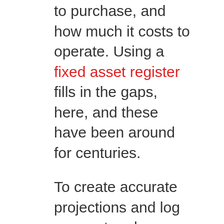to purchase, and how much it costs to operate. Using a fixed asset register fills in the gaps, here, and these have been around for centuries.
To create accurate projections and log your net and gross profits, knowing your assets inside and out is a necessity and always has been. This is why in the digital age, spreadsheets were created to house asset data.
These plastered over a few issues but created unnecessary inefficiencies. To log all of your asset data on a spreadsheet, each asset needs a row and each bit of data, whether serial number, booking info, or pricing details needs a row.